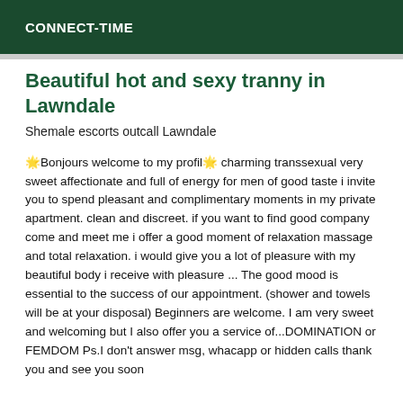CONNECT-TIME
Beautiful hot and sexy tranny in Lawndale
Shemale escorts outcall Lawndale
🌟Bonjours welcome to my profil🌟 charming transsexual very sweet affectionate and full of energy for men of good taste i invite you to spend pleasant and complimentary moments in my private apartment. clean and discreet. if you want to find good company come and meet me i offer a good moment of relaxation massage and total relaxation. i would give you a lot of pleasure with my beautiful body i receive with pleasure ... The good mood is essential to the success of our appointment. (shower and towels will be at your disposal) Beginners are welcome. I am very sweet and welcoming but I also offer you a service of...DOMINATION or FEMDOM Ps.I don't answer msg, whacapp or hidden calls thank you and see you soon